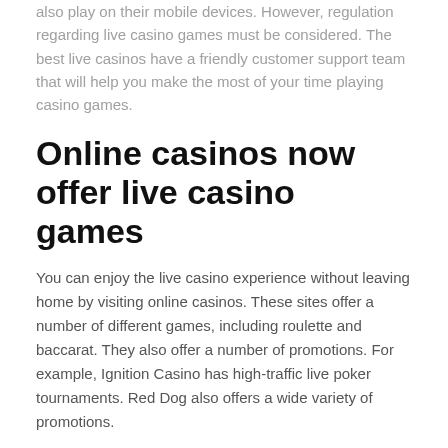also play on their mobile devices. However, regulation regarding live casino games must be considered. The best live casinos have a friendly customer support team that will help you make the most of your time playing casino games.
Online casinos now offer live casino games
You can enjoy the live casino experience without leaving home by visiting online casinos. These sites offer a number of different games, including roulette and baccarat. They also offer a number of promotions. For example, Ignition Casino has high-traffic live poker tournaments. Red Dog also offers a wide variety of promotions.
Red Dog Casino offers thirteen live casino games. However, you must create an account with the site